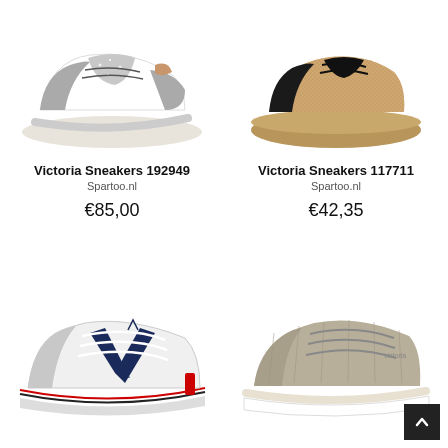[Figure (photo): Victoria Sneakers 192949 - grey and white trainer with glitter panel and rose gold heel tab]
[Figure (photo): Victoria Sneakers 117711 - bronze/gold glitter low-top sneaker with gum sole and black laces]
Victoria Sneakers 192949
Spartoo.nl
€85,00
Victoria Sneakers 117711
Spartoo.nl
€42,35
[Figure (photo): Victoria low-top white canvas sneaker with navy V logo stripe and red accent]
[Figure (photo): Beige/khaki low-top canvas sneaker with white sole]